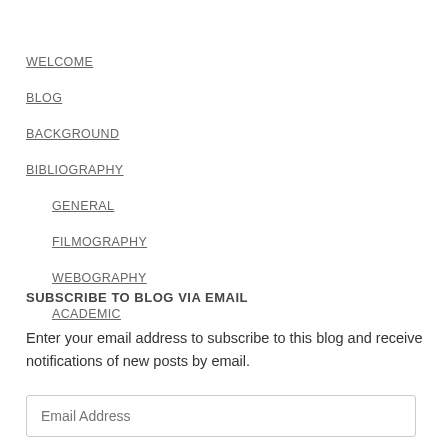WELCOME
BLOG
BACKGROUND
BIBLIOGRAPHY
GENERAL
FILMOGRAPHY
WEBOGRAPHY
ACADEMIC
SUBSCRIBE TO BLOG VIA EMAIL
Enter your email address to subscribe to this blog and receive notifications of new posts by email.
Email Address